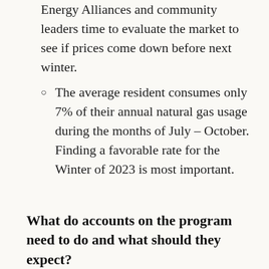Energy Alliances and community leaders time to evaluate the market to see if prices come down before next winter.
The average resident consumes only 7% of their annual natural gas usage during the months of July – October. Finding a favorable rate for the Winter of 2023 is most important.
What do accounts on the program need to do and what should they expect?